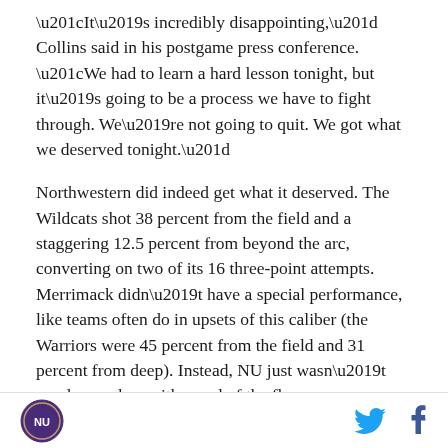“It’s incredibly disappointing,” Collins said in his postgame press conference. “We had to learn a hard lesson tonight, but it’s going to be a process we have to fight through. We’re not going to quit. We got what we deserved tonight.”
Northwestern did indeed get what it deserved. The Wildcats shot 38 percent from the field and a staggering 12.5 percent from beyond the arc, converting on two of its 16 three-point attempts. Merrimack didn’t have a special performance, like teams often do in upsets of this caliber (the Warriors were 45 percent from the field and 31 percent from deep). Instead, NU just wasn’t good enough on either end of the floor.
NU logo, Twitter icon, Facebook icon